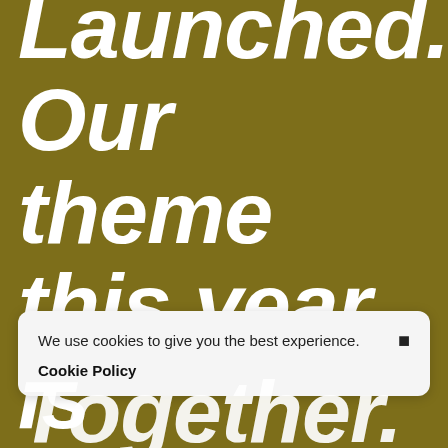Launched. Our theme this year is Working Better, Together.
We use cookies to give you the best experience. Cookie Policy